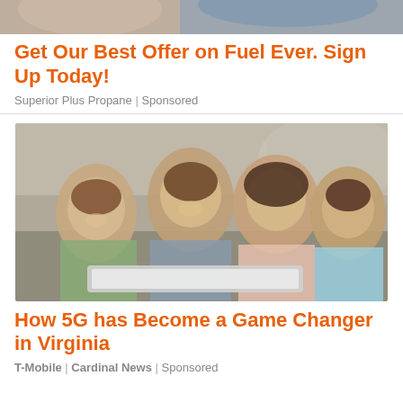[Figure (photo): Top portion of an advertisement image, partially cropped — appears to show people outdoors, possibly related to fuel/propane service.]
Get Our Best Offer on Fuel Ever. Sign Up Today!
Superior Plus Propane | Sponsored
[Figure (photo): A family of four — a man, woman, and two children — smiling and gathered around a laptop or tablet, looking at the screen together in a home setting.]
How 5G has Become a Game Changer in Virginia
T-Mobile | Cardinal News | Sponsored